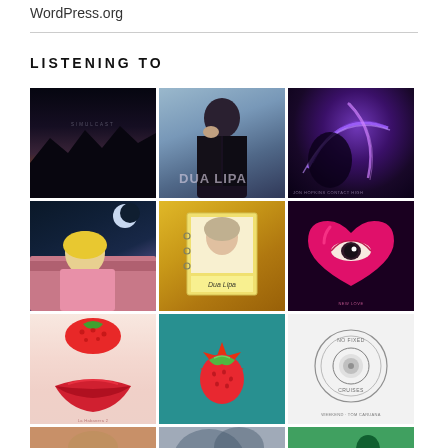WordPress.org
LISTENING TO
[Figure (photo): Grid of 12 music album covers arranged in 4 rows of 3 columns. Row 1: dark landscape with sunset (Tycho - Simulcast or similar), woman in dark jacket (Dua Lipa), purple glowing abstract (Jon Hopkins - Contact High). Row 2: woman driving pink car (Allie X or similar), yellow polaroid-style album collage (Dua Lipa - Duality), hot pink heart with eye (New Love). Row 3: red lips/strawberry motif on light background, teal background with exploding strawberry (Ed Sheeran or similar), white background with circular record label (Weekend - Tom Caruana). Row 4 (partial, cut off): warm portrait, grey/blue abstract, green abstract.]